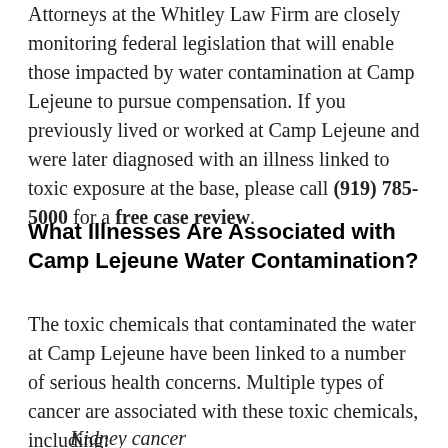Attorneys at the Whitley Law Firm are closely monitoring federal legislation that will enable those impacted by water contamination at Camp Lejeune to pursue compensation. If you previously lived or worked at Camp Lejeune and were later diagnosed with an illness linked to toxic exposure at the base, please call (919) 785-5000 for a free case review.
What Illnesses Are Associated with Camp Lejeune Water Contamination?
The toxic chemicals that contaminated the water at Camp Lejeune have been linked to a number of serious health concerns. Multiple types of cancer are associated with these toxic chemicals, including:
Kidney cancer